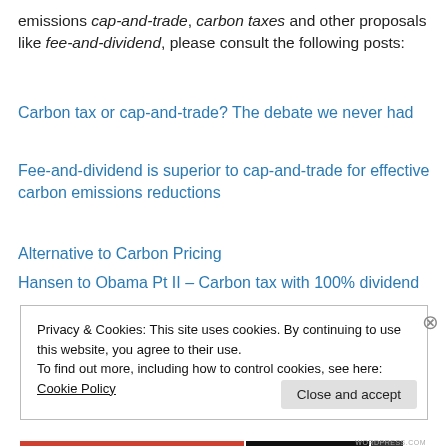emissions cap-and-trade, carbon taxes and other proposals like fee-and-dividend, please consult the following posts:
Carbon tax or cap-and-trade? The debate we never had
Fee-and-dividend is superior to cap-and-trade for effective carbon emissions reductions
Alternative to Carbon Pricing
Hansen to Obama Pt II – Carbon tax with 100% dividend
Privacy & Cookies: This site uses cookies. By continuing to use this website, you agree to their use.
To find out more, including how to control cookies, see here: Cookie Policy